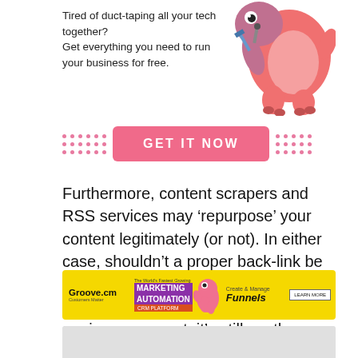[Figure (illustration): Advertisement banner showing cartoon pink dinosaur mascot with tools, text 'Tired of duct-taping all your tech together? Get everything you need to run your business for free.' and a pink GET IT NOW button with decorative pink dots on either side]
Furthermore, content scrapers and RSS services may ‘repurpose’ your content legitimately (or not). In either case, shouldn’t a proper back-link be attributed to your site? This situation favours absolute links. Although this is a minor argument, it’s still worth considering.
[Figure (illustration): Groove.cm advertisement banner with yellow background showing Marketing Automation CRM Platform text, pink cartoon mascot, Create & Manage Funnels text and LEARN MORE button]
[Figure (illustration): Partial gray advertisement banner at bottom]